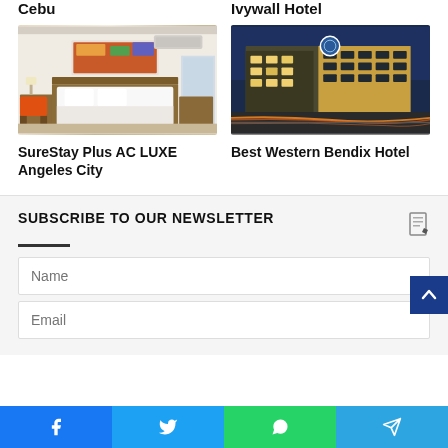Cebu
Ivywall Hotel
[Figure (photo): Hotel room interior with orange chair, wooden bed frame, white bedding, artwork on wall]
SureStay Plus AC LUXE Angeles City
[Figure (photo): Exterior night photo of Best Western Bendix Hotel building with light trails from traffic]
Best Western Bendix Hotel
SUBSCRIBE TO OUR NEWSLETTER
Name
Email